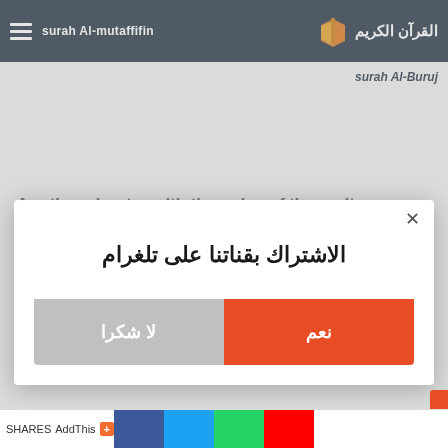surah Al-mutaffifin — القرآن الكريم
surah Al-Buruj
Another chapter with the voice of the reciter
[Figure (screenshot): Modal dialog in Arabic asking user to subscribe to Telegram channel, with two buttons: نعم (Yes) in orange-red and لا شكرا (No thanks) in gray. Title reads: الاشتراك بقناتنا على تلغرام]
AddThis + share icons (Facebook, Twitter, WhatsApp, YouTube)